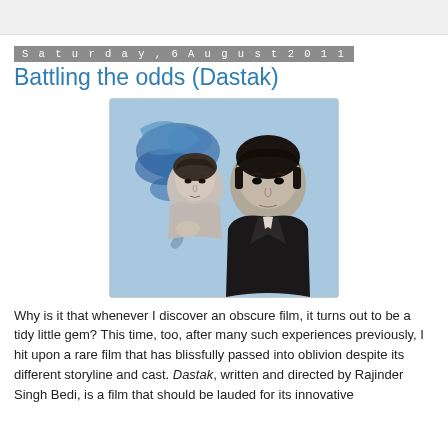Saturday, 6 August 2011
Battling the odds (Dastak)
[Figure (photo): Movie poster/promotional still for Dastak showing a woman and a man against a blue illustrated background]
Why is it that whenever I discover an obscure film, it turns out to be a tidy little gem? This time, too, after many such experiences previously, I hit upon a rare film that has blissfully passed into oblivion despite its different storyline and cast. Dastak, written and directed by Rajinder Singh Bedi, is a film that should be lauded for its innovative